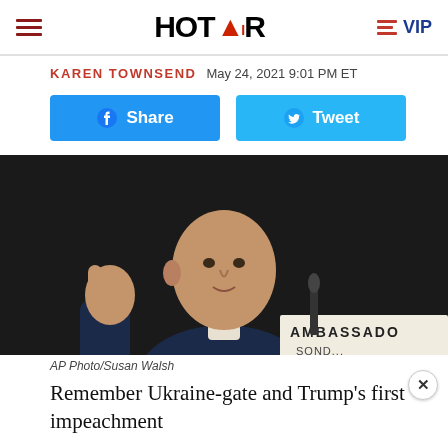HOT AIR — VIP
KAREN TOWNSEND  May 24, 2021 9:01 PM ET
[Figure (screenshot): Facebook Share button and Twitter Tweet button]
[Figure (photo): Man in suit gesturing with hand, nameplate reading AMBASSADOR visible, AP Photo/Susan Walsh]
AP Photo/Susan Walsh
Remember Ukraine-gate and Trump's first impeachment